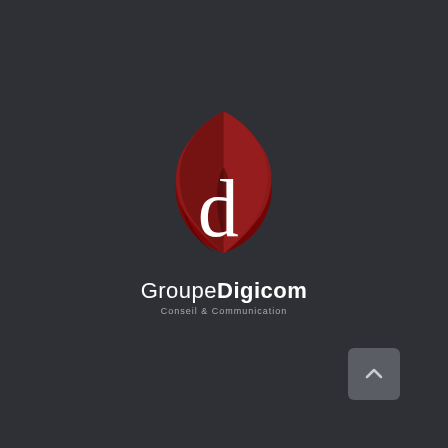[Figure (logo): Groupe Digicom logo: a dark red shield/gem shape with a white letter 'd' overlaid, above the text 'GroupeDigicom' and subtitle 'Conseil & Communication']
[Figure (other): A small grey rounded square button with an upward-pointing chevron arrow, positioned in the bottom-right corner]